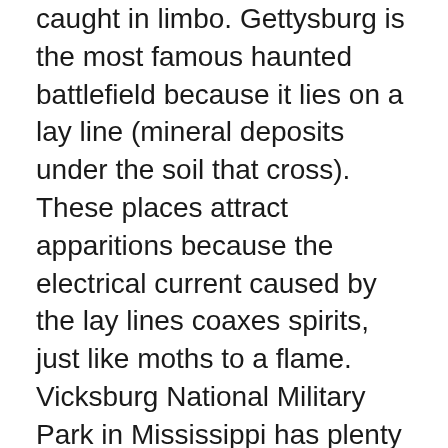caught in limbo. Gettysburg is the most famous haunted battlefield because it lies on a lay line (mineral deposits under the soil that cross). These places attract apparitions because the electrical current caused by the lay lines coaxes spirits, just like moths to a flame. Vicksburg National Military Park in Mississippi has plenty of supernatural inhabitants as well. It is no wonder, since the citizens and Confederate army were under siege for months, forced to live in caves along the riverbank, and eat vermin, dogs, etc. in order to survive. The town is filled with old abandoned buildings, but many are rumored to be not completely empty. Spirits have been seen wandering the streets at night, along with frequenting local establishments, including old antebellum homes that have been converted into bed-and-breakfasts. New Orleans entertains its share of Civil War ghosts, along with all the other spiritual entities that thrive there